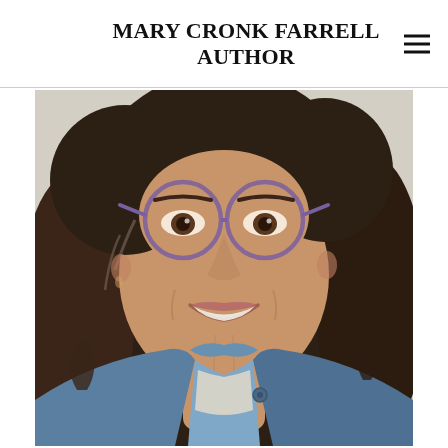MARY CRONK FARRELL AUTHOR
[Figure (photo): Close-up portrait photo of a smiling woman with dark curly hair, round purple-framed glasses, wearing a denim jacket over a light top. Photo is cropped from shoulders up, showing her face prominently.]